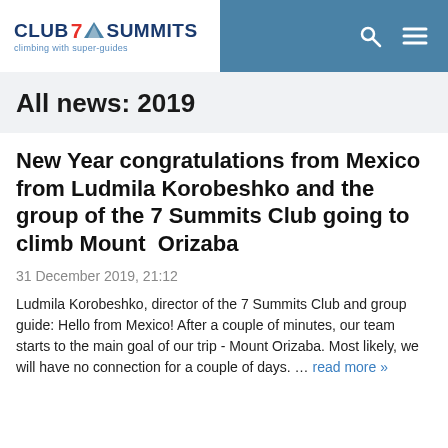CLUB 7 SUMMITS climbing with super-guides
All news: 2019
New Year congratulations from Mexico from Ludmila Korobeshko and the group of the 7 Summits Club going to climb Mount Orizaba
31 December 2019, 21:12
Ludmila Korobeshko, director of the 7 Summits Club and group guide: Hello from Mexico! After a couple of minutes, our team starts to the main goal of our trip - Mount Orizaba. Most likely, we will have no connection for a couple of days. … read more »